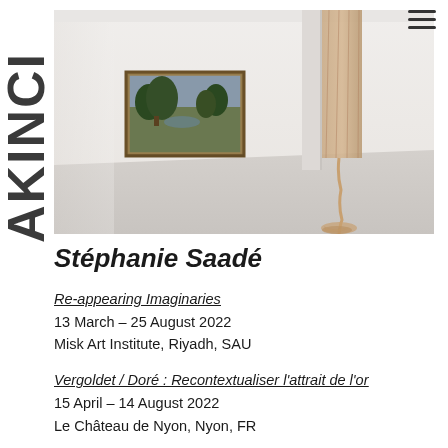AKINCI
[Figure (photo): Gallery installation photo showing a white room with a framed landscape painting on the left wall and a hanging textile/rope sculpture draped from the ceiling to the floor on the right side]
Stéphanie Saadé
Re-appearing Imaginaries
13 March – 25 August 2022
Misk Art Institute, Riyadh, SAU
Vergoldet / Doré : Recontextualiser l'attrait de l'or
15 April – 14 August 2022
Le Château de Nyon, Nyon, FR